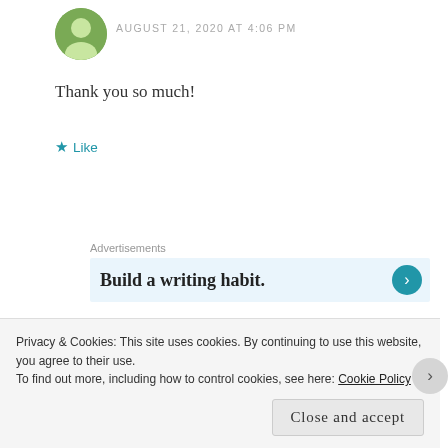[Figure (photo): Small circular avatar photo of a person in green top]
AUGUST 21, 2020 AT 4:06 PM
Thank you so much!
★ Like
Advertisements
Build a writing habit.
[Figure (photo): Circular avatar photo of Cydira, a woman with blonde hair]
Cydira
AUGUST 21, 2020 AT 4:06 PM
Privacy & Cookies: This site uses cookies. By continuing to use this website, you agree to their use.
To find out more, including how to control cookies, see here: Cookie Policy
Close and accept